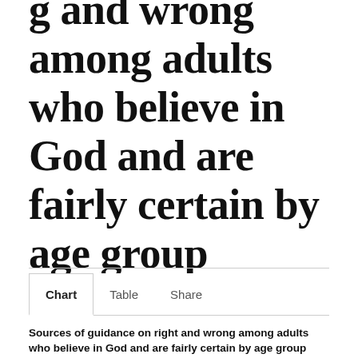…g and wrong among adults who believe in God and are fairly certain by age group
Chart | Table | Share
Sources of guidance on right and wrong among adults who believe in God and are fairly certain by age group